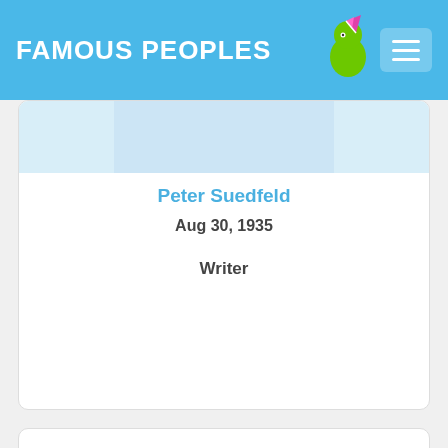FAMOUS PEOPLES
Peter Suedfeld
Aug 30, 1935
Writer
[Figure (photo): Black and white photo of a man in profile/three-quarter view, looking slightly downward with hand raised near chin, with blurred foliage background]